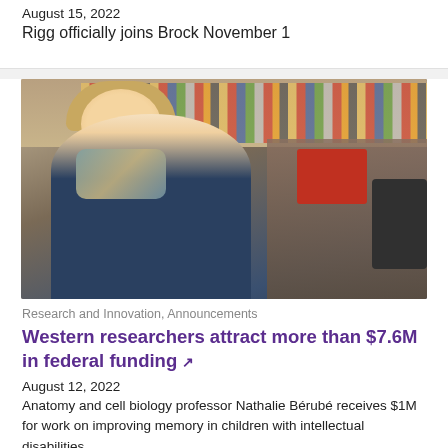August 15, 2022
Rigg officially joins Brock November 1
[Figure (photo): A woman smiling in a research laboratory setting with shelves of bottles and lab equipment in the background]
Research and Innovation, Announcements
Western researchers attract more than $7.6M in federal funding
August 12, 2022
Anatomy and cell biology professor Nathalie Bérubé receives $1M for work on improving memory in children with intellectual disabilities